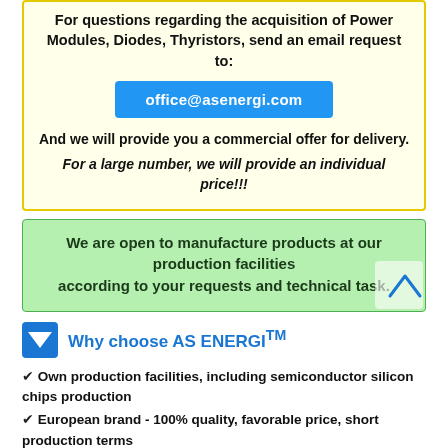For questions regarding the acquisition of Power Modules, Diodes, Thyristors, send an email request to:
office@asenergi.com
And we will provide you a commercial offer for delivery.
For a large number, we will provide an individual price!!!
We are open to manufacture products at our production facilities according to your requests and technical task.
Why choose AS ENERGITM
Own production facilities, including semiconductor silicon chips production
European brand - 100% quality, favorable price, short production terms